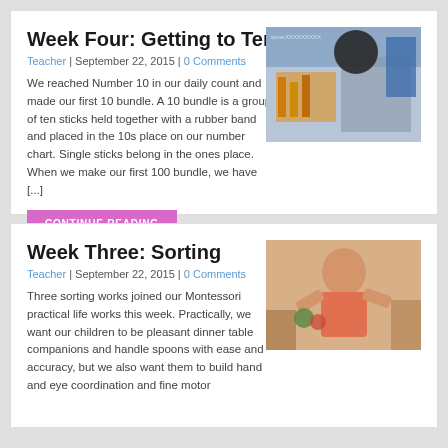Week Four: Getting to Ten
Teacher | September 22, 2015 | 0 Comments
We reached Number 10 in our daily count and made our first 10 bundle. A 10 bundle is a group of ten sticks held together with a rubber band and placed in the 10s place on our number chart.  Single sticks belong in the ones place.  When we make our first 100 bundle, we have [...]
[Figure (photo): Photo of classroom counting materials and sticks]
CONTINUE READING
Week Three: Sorting
Teacher | September 22, 2015 | 0 Comments
Three sorting works joined our Montessori practical life works this week.  Practically, we want our children to be pleasant dinner table companions and handle spoons with ease and accuracy, but we also want them to build hand and eye coordination and fine motor
[Figure (photo): Photo of child in pink shirt sorting at table]